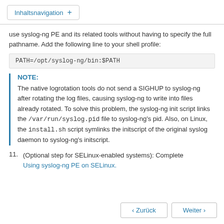Inhaltsnavigation +
use syslog-ng PE and its related tools without having to specify the full pathname. Add the following line to your shell profile:
NOTE:
The native logrotation tools do not send a SIGHUP to syslog-ng after rotating the log files, causing syslog-ng to write into files already rotated. To solve this problem, the syslog-ng init script links the /var/run/syslog.pid file to syslog-ng's pid. Also, on Linux, the install.sh script symlinks the initscript of the original syslog daemon to syslog-ng's initscript.
11. (Optional step for SELinux-enabled systems): Complete Using syslog-ng PE on SELinux.